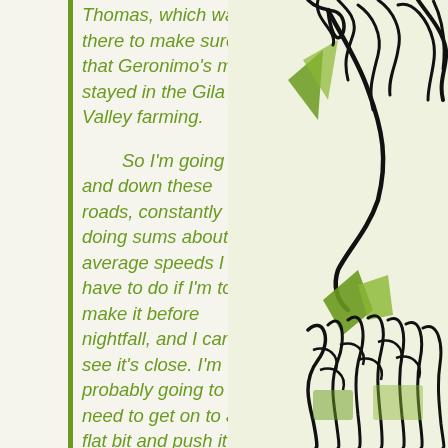Thomas, which was there to make sure that Geronimo's men stayed in the Gila Valley farming.

So I'm going up and down these roads, constantly doing sums about average speeds I have to do if I'm to make it before nightfall, and I can see it's close. I'm probably going to need to get on to a flat bit and push it up a bit but there's a wind as well that I wouldn't get sheltered from like when going
[Figure (illustration): Hand-drawn illustration of a figure (possibly a person or character) with stylized green and black line art, showing a nose profile, green triangular/feather shapes and black scribbly hair/grass-like textures on a light background.]